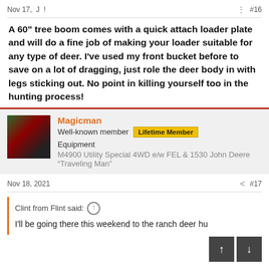Nov 17,  J !   #16
A 60" tree boom comes with a quick attach loader plate and will do a fine job of making your loader suitable for any type of deer. I've used my front bucket before to save on a lot of dragging, just role the deer body in with legs sticking out. No point in killing yourself too in the hunting process!
Magicman
Well-known member  Lifetime Member
Equipment
M4900 Utility Special 4WD e/w FEL & 1530 John Deere "Traveling Man"
Nov 18, 2021   #17
Clint from Flint said:
I'll be going there this weekend to the ranch deer hu...